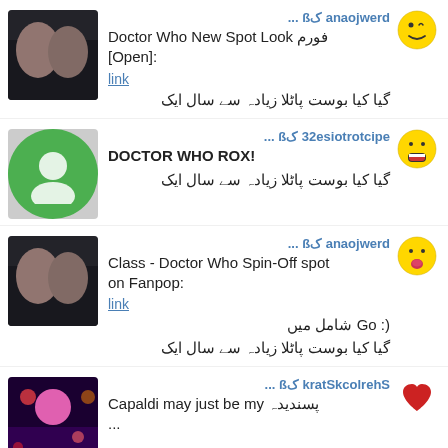drewjoana کß ... 
Doctor Who New Spot Look فورم [Open]:
link
گیا کیا بوست پاٹلا زیادہ سے سال ایک
epictortoise23 کß ... 
DOCTOR WHO ROX!
گیا کیا بوست پاٹلا زیادہ سے سال ایک
drewjoana کß ... 
Class - Doctor Who Spin-Off spot on Fanpop:
link
(: شامل میں Go
گیا کیا بوست پاٹلا زیادہ سے سال ایک
SherlockStark کß ... 
Capaldi may just be my پسندیدہ ...